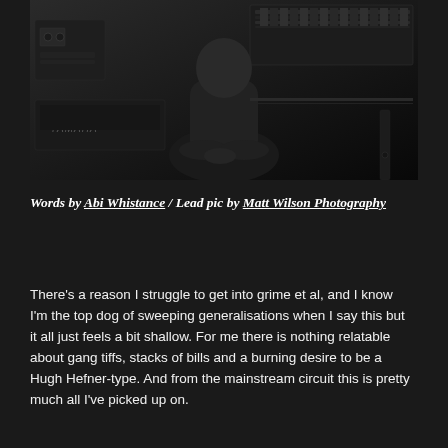[Figure (photo): Black and white photograph of a person sitting in a recording studio surrounded by audio/music equipment including a Yamaha keyboard and mixing boards]
Words by Abi Whistance / Lead pic by Matt Wilson Photography
There's a reason I struggle to get into grime et al, and I know I'm the top dog of sweeping generalisations when I say this but it all just feels a bit shallow. For me there is nothing relatable about gang tiffs, stacks of bills and a burning desire to be a Hugh Hefner-type. And from the mainstream circuit this is pretty much all I've picked up on.